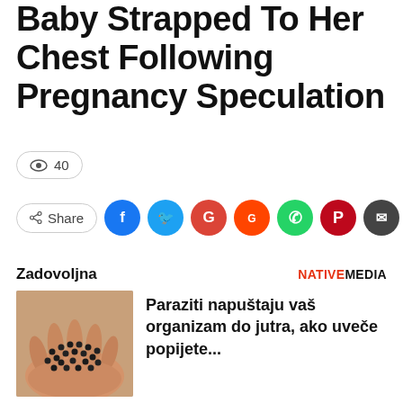Baby Strapped To Her Chest Following Pregnancy Speculation
👁 40
Share (social media buttons: Facebook, Twitter, Google, Reddit, WhatsApp, Pinterest, Email)
Zadovoljna  NATIVEMEDIA
[Figure (photo): A hand holding a pile of small black seeds/pellets]
Paraziti napuštaju vaš organizam do jutra, ako uveče popijete...